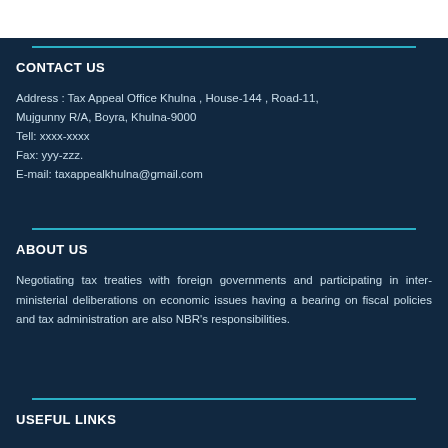CONTACT US
Address : Tax Appeal Office Khulna , House-144 , Road-11, Mujgunny R/A, Boyra, Khulna-9000
Tell: xxxx-xxxx
Fax: yyy-zzz.
E-mail: taxappealkhulna@gmail.com
ABOUT US
Negotiating tax treaties with foreign governments and participating in inter-ministerial deliberations on economic issues having a bearing on fiscal policies and tax administration are also NBR's responsibilities.
USEFUL LINKS